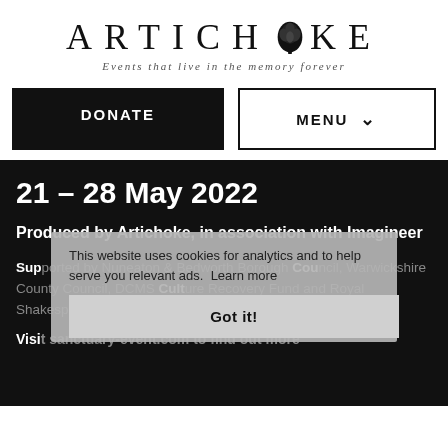ARTICHOKE — Events that live in the memory forever
DONATE
MENU
21 – 28 May 2022
Produced by Artichoke, in association with Imagineer
Supported by Nuneaton & Bedworth Borough Council, Warwickshire County Council, DCMS Culture Recovery Fund and Royal Shakespeare Company
Visit sanctuary-event.com to find out more
This website uses cookies for analytics and to help serve you relevant ads.  Learn more
Got it!